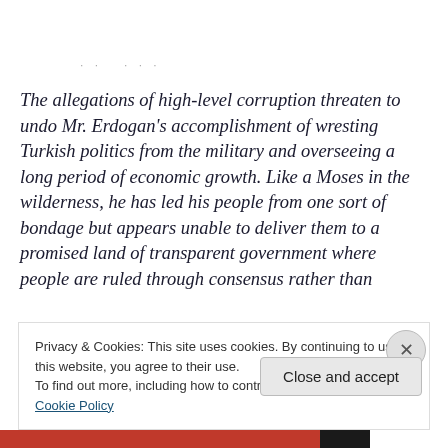· · · · ·
The allegations of high-level corruption threaten to undo Mr. Erdogan's accomplishment of wresting Turkish politics from the military and overseeing a long period of economic growth. Like a Moses in the wilderness, he has led his people from one sort of bondage but appears unable to deliver them to a promised land of transparent government where people are ruled through consensus rather than
Privacy & Cookies: This site uses cookies. By continuing to use this website, you agree to their use.
To find out more, including how to control cookies, see here: Cookie Policy
Close and accept